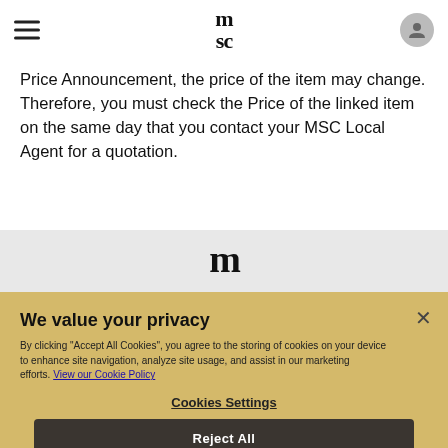MSC logo navigation header with hamburger menu and user icon
Price Announcement, the price of the item may change. Therefore, you must check the Price of the linked item on the same day that you contact your MSC Local Agent for a quotation.
[Figure (logo): Large MSC shipping logo in gray section]
We value your privacy
By clicking "Accept All Cookies", you agree to the storing of cookies on your device to enhance site navigation, analyze site usage, and assist in our marketing efforts. View our Cookie Policy
Cookies Settings
Reject All
Accept All Cookies